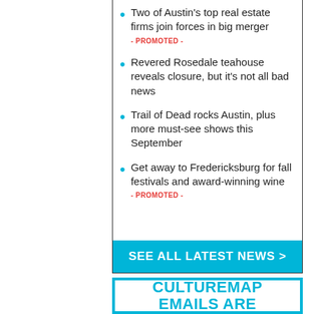Two of Austin's top real estate firms join forces in big merger
- PROMOTED -
Revered Rosedale teahouse reveals closure, but it's not all bad news
Trail of Dead rocks Austin, plus more must-see shows this September
Get away to Fredericksburg for fall festivals and award-winning wine
- PROMOTED -
SEE ALL LATEST NEWS >
CULTUREMAP EMAILS ARE